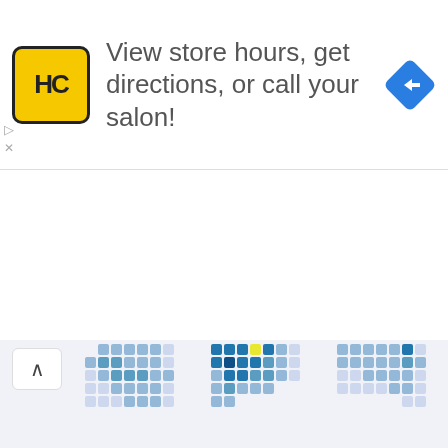[Figure (infographic): Advertisement banner: HC salon logo (yellow square with HC letters), text 'View store hours, get directions, or call your salon!', blue navigation arrow icon]
[Figure (infographic): Calendar heatmap grids for October, November, December (top row partial, bottom row full) showing medical staff hours with blue intensity cells. Dropdown selectors for 'Medical Staff Hours' and '2021'.]
Medical Staff Hours
2021